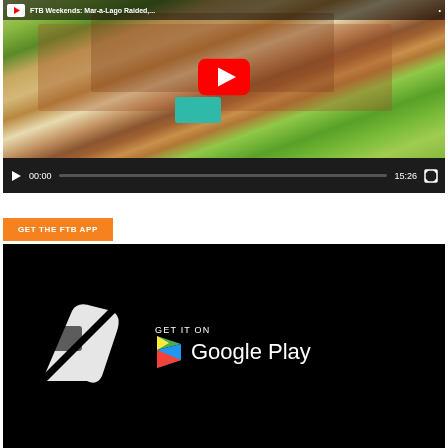[Figure (screenshot): YouTube video player showing aerial view of Mar-a-Lago estate. Title partially visible: 'FTB Weekends: Mar-a-Lago Raided,...'. Video duration 15:26, paused at 00:00. Red YouTube play button overlay on thumbnail.]
GET THE FTB APP
[Figure (screenshot): Google Play store badge on black background with FTB app logo (white icon with pencil/flash symbol). Text reads 'GET IT ON Google Play'.]